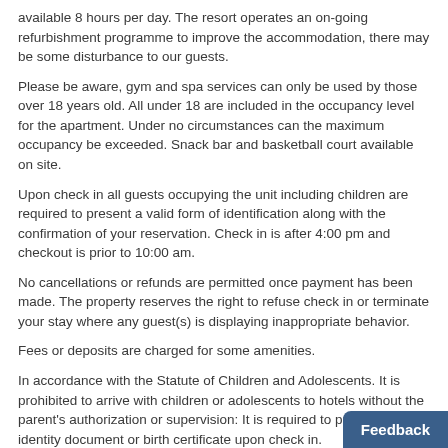available 8 hours per day. The resort operates an on-going refurbishment programme to improve the accommodation, there may be some disturbance to our guests.
Please be aware, gym and spa services can only be used by those over 18 years old. All under 18 are included in the occupancy level for the apartment. Under no circumstances can the maximum occupancy be exceeded. Snack bar and basketball court available on site.
Upon check in all guests occupying the unit including children are required to present a valid form of identification along with the confirmation of your reservation. Check in is after 4:00 pm and checkout is prior to 10:00 am.
No cancellations or refunds are permitted once payment has been made. The property reserves the right to refuse check in or terminate your stay where any guest(s) is displaying inappropriate behavior.
Fees or deposits are charged for some amenities.
In accordance with the Statute of Children and Adolescents. It is prohibited to arrive with children or adolescents to hotels without the parent's authorization or supervision: It is required to present an identity document or birth certificate upon check in.
Please contact Resort for any late bookings {24/48 hours prior to check in} to arrange arrival details.
Please ensure that extra care is taken on the balconies with children as gaps are larger than normal.
Hen and stag party bookings will not be accepted. The resort applies this policy strictly.